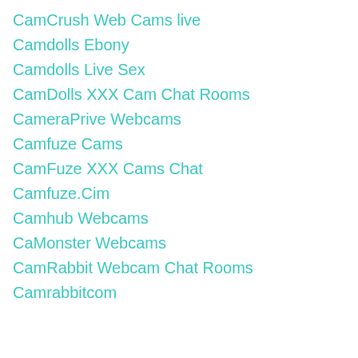CamCrush Web Cams live
Camdolls Ebony
Camdolls Live Sex
CamDolls XXX Cam Chat Rooms
CameraPrive Webcams
Camfuze Cams
CamFuze XXX Cams Chat
Camfuze.Cim
Camhub Webcams
CaMonster Webcams
CamRabbit Webcam Chat Rooms
Camrabbitcom